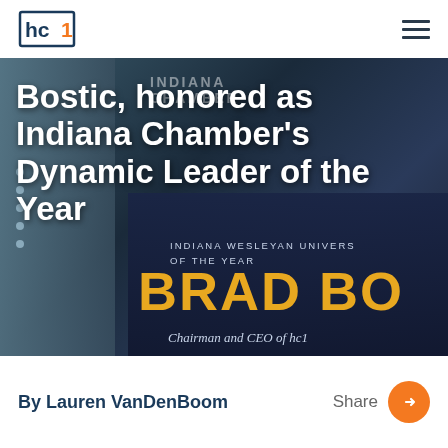hc1 logo and navigation menu
Bostic, honored as Indiana Chamber's Dynamic Leader of the Year
[Figure (photo): Award ceremony banner showing 'Indiana Chamber of Commerce Dynamic Leader of the Year — BRAD BO[STIC], Chairman and CEO of hc1' overlaid with a white bold title text overlay. Background shows person in jacket beside a dark navy award sign with gold text.]
By Lauren VanDenBoom
Share